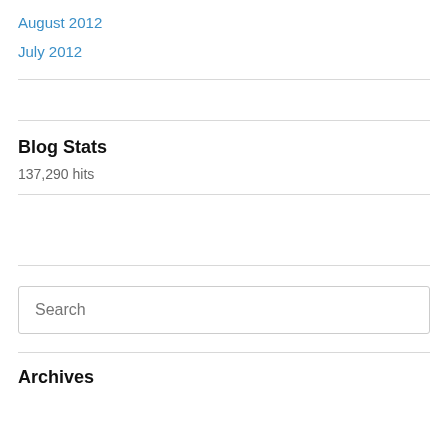August 2012
July 2012
Blog Stats
137,290 hits
Search
Archives